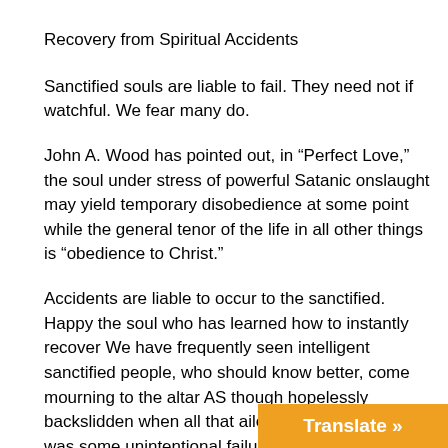Recovery from Spiritual Accidents
Sanctified souls are liable to fail. They need not if watchful. We fear many do.
John A. Wood has pointed out, in “Perfect Love,” the soul under stress of powerful Satanic onslaught may yield temporary disobedience at some point while the general tenor of the life in all other things is “obedience to Christ.”
Accidents are liable to occur to the sanctified. Happy the soul who has learned how to instantly recover We have frequently seen intelligent sanctified people, who should know better, come mourning to the altar AS though hopelessly backslidden when all that ailed them in the ‘world was some unintentional failure, not a sin properly so called, which, because of their over conscientiousness was made a source of accusation by the Accuser. Sanctified people should not run to a public altar for every little inadvertency and thus become a gazing an